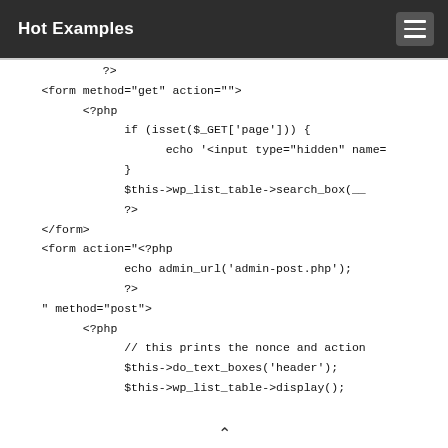Hot Examples
[Figure (screenshot): Code snippet showing PHP and HTML form code with WordPress list table search box and admin URL echo]
navigation arrow